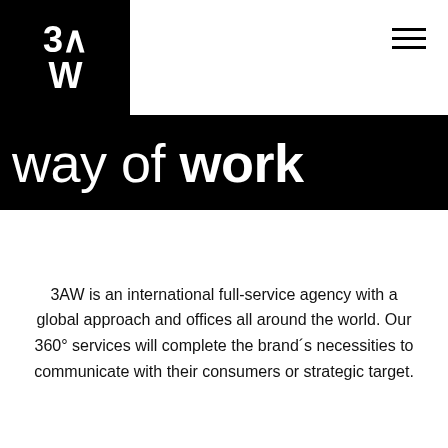[Figure (logo): 3AW logo — white text showing '3∧' on top line and 'W' on bottom line inside a black square box]
way of work
3AW is an international full-service agency with a global approach and offices all around the world. Our 360° services will complete the brand´s necessities to communicate with their consumers or strategic target.